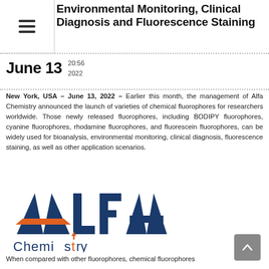Environmental Monitoring, Clinical Diagnosis and Fluorescence Staining
June 13  20:56 2022
New York, USA – June 13, 2022 – Earlier this month, the management of Alfa Chemistry announced the launch of varieties of chemical fluorophores for researchers worldwide. Those newly released fluorophores, including BODIPY fluorophores, cyanine fluorophores, rhodamine fluorophores, and fluorescein fluorophores, can be widely used for bioanalysis, environmental monitoring, clinical diagnosis, fluorescence staining, as well as other application scenarios.
[Figure (logo): Alfa Chemistry logo — large bold 'ALFA' in navy blue with a stylized orange and blue arrow/chevron for the 'A', and 'Chemistry' below in navy with an orange upward arrow replacing the 't']
When compared with other fluorophores, chemical fluorophores